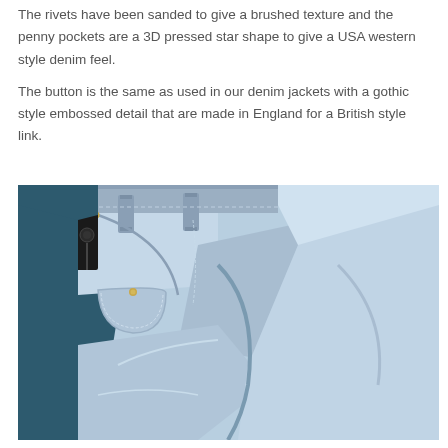The rivets have been sanded to give a brushed texture and the penny pockets are a 3D pressed star shape to give a USA western style denim feel.
The button is the same as used in our denim jackets with a gothic style embossed detail that are made in England for a British style link.
[Figure (photo): Close-up photograph of light blue denim jeans showing the waistband area, belt loops, coin pocket, and front pocket detail, shot against a dark teal/blue background.]